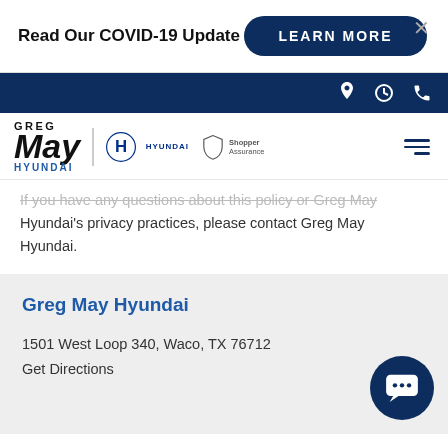Read Our COVID-19 Update
LEARN MORE
[Figure (logo): Greg May Hyundai dealership logo with Hyundai brand logo and Shopper Assurance badge]
If you have any questions about this policy or Greg May Hyundai's privacy practices, please contact Greg May Hyundai.
Greg May Hyundai
1501 West Loop 340, Waco, TX 76712
Get Directions